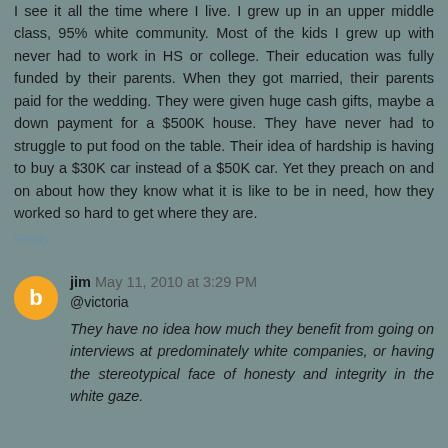I see it all the time where I live. I grew up in an upper middle class, 95% white community. Most of the kids I grew up with never had to work in HS or college. Their education was fully funded by their parents. When they got married, their parents paid for the wedding. They were given huge cash gifts, maybe a down payment for a $500K house. They have never had to struggle to put food on the table. Their idea of hardship is having to buy a $30K car instead of a $50K car. Yet they preach on and on about how they know what it is like to be in need, how they worked so hard to get where they are.
Reply
jim May 11, 2010 at 3:29 PM
@victoria
They have no idea how much they benefit from going on interviews at predominately white companies, or having the stereotypical face of honesty and integrity in the white gaze.